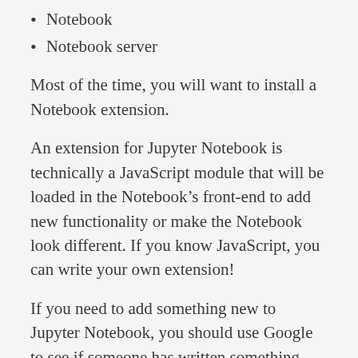Notebook
Notebook server
Most of the time, you will want to install a Notebook extension.
An extension for Jupyter Notebook is technically a JavaScript module that will be loaded in the Notebook’s front-end to add new functionality or make the Notebook look different. If you know JavaScript, you can write your own extension!
If you need to add something new to Jupyter Notebook, you should use Google to see if someone has written something that will work for you. The most popular extension is actually a large set of extensions called